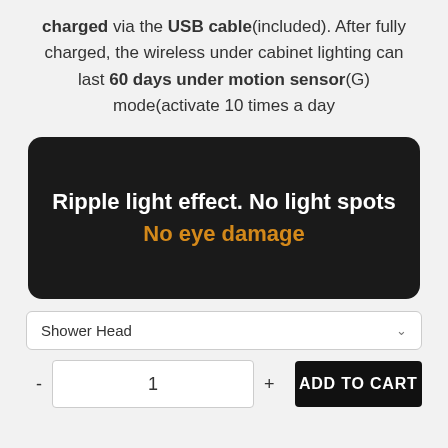charged via the USB cable(included). After fully charged, the wireless under cabinet lighting can last 60 days under motion sensor(G) mode(activate 10 times a day
[Figure (other): Dark background promotional banner with text: 'Ripple light effect. No light spots' in white bold font, and 'No eye damage' in orange bold font below.]
Shower Head
- 1 + ADD TO CART